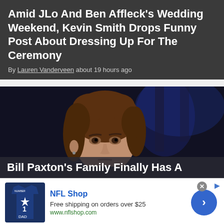Amid JLo And Ben Affleck's Wedding Weekend, Kevin Smith Drops Funny Post About Dressing Up For The Ceremony
By Lauren Vanderveen about 19 hours ago
[Figure (photo): Man with brown shoulder-length hair looking at camera in dark setting, with overlay text 'Bill Paxton's Family Finally Has A']
NFL Shop
Free shipping on orders over $25
www.nflshop.com